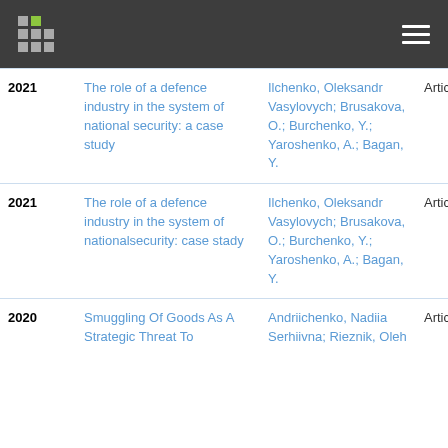Header bar with logo and navigation
| Year | Title | Authors | Type | Number |
| --- | --- | --- | --- | --- |
| 2021 | The role of a defence industry in the system of national security: a case study | Ilchenko, Oleksandr Vasylovych; Brusakova, O.; Burchenko, Y.; Yaroshenko, A.; Bagan, Y. | Article | 249 |
| 2021 | The role of a defence industry in the system of nationalsecurity: case stady | Ilchenko, Oleksandr Vasylovych; Brusakova, O.; Burchenko, Y.; Yaroshenko, A.; Bagan, Y. | Article | 301 |
| 2020 | Smuggling Of Goods As A Strategic Threat To | Andriichenko, Nadiia Serhiivna; Rieznik, Oleh | Article | 239 |